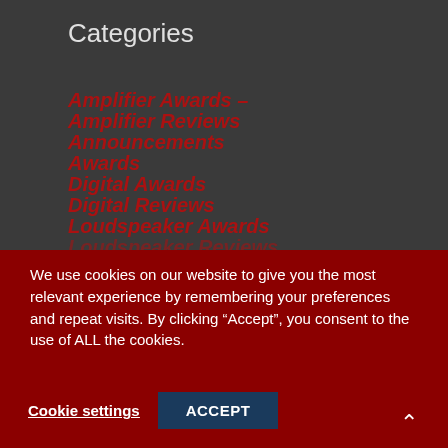Categories
Amplifier Awards –
Amplifier Reviews
Announcements
Awards
Digital Awards
Digital Reviews
Loudspeaker Awards
Loudspeaker Reviews
We use cookies on our website to give you the most relevant experience by remembering your preferences and repeat visits. By clicking “Accept”, you consent to the use of ALL the cookies.
Cookie settings   ACCEPT